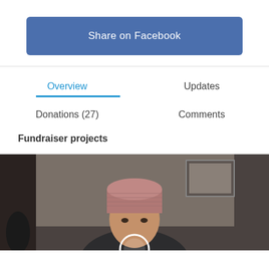[Figure (other): Share on Facebook button, blue rounded rectangle with white text]
Overview
Updates
Donations (27)
Comments
Fundraiser projects
[Figure (photo): Photo of a person wearing a pink/mauve beanie hat, indoors, looking slightly downward, with a circular logo/graphic overlay at bottom]